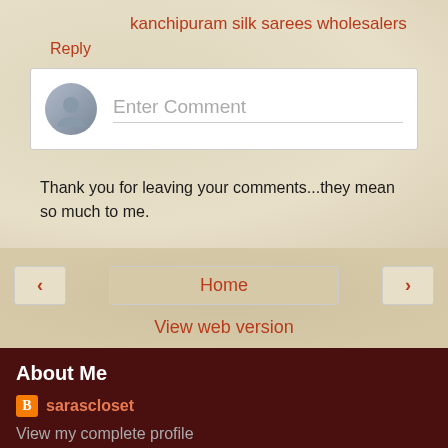kanchipuram silk sarees wholesalers
Reply
[Figure (other): Comment input box with avatar placeholder and 'Enter Comment' placeholder text]
Thank you for leaving your comments...they mean so much to me.
< Home >
View web version
About Me
sarascloset
View my complete profile
Powered by Blogger.